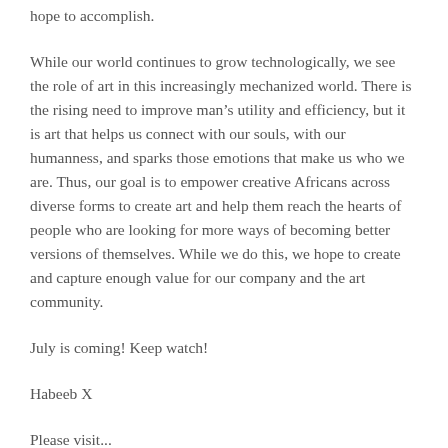hope to accomplish.
While our world continues to grow technologically, we see the role of art in this increasingly mechanized world. There is the rising need to improve man's utility and efficiency, but it is art that helps us connect with our souls, with our humanness, and sparks those emotions that make us who we are. Thus, our goal is to empower creative Africans across diverse forms to create art and help them reach the hearts of people who are looking for more ways of becoming better versions of themselves. While we do this, we hope to create and capture enough value for our company and the art community.
July is coming! Keep watch!
Habeeb X
Please visit...